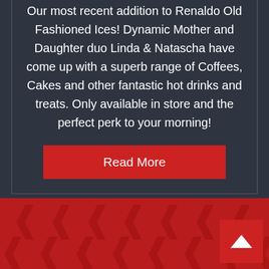Our most recent addition to Renaldo Old Fashioned Ices! Dynamic Mother and Daughter duo Linda & Natascha have come up with a superb range of Coffees, Cakes and other fantastic hot drinks and treats. Only available in store and the perfect perk to your morning!
[Figure (other): Red 'Read More' button]
[Figure (other): Dark red footer with repeating ice cream cone logo pattern and a back-to-top arrow button in the bottom right corner]